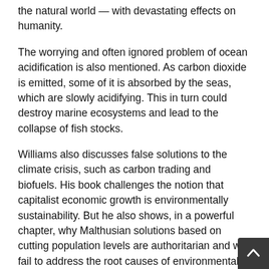the natural world — with devastating effects on humanity.
The worrying and often ignored problem of ocean acidification is also mentioned. As carbon dioxide is emitted, some of it is absorbed by the seas, which are slowly acidifying. This in turn could destroy marine ecosystems and lead to the collapse of fish stocks.
Williams also discusses false solutions to the climate crisis, such as carbon trading and biofuels. His book challenges the notion that capitalist economic growth is environmentally sustainability. But he also shows, in a powerful chapter, why Malthusian solutions based on cutting population levels are authoritarian and will fail to address the root causes of environmental problems.
There is an interesting section on the difficult question of how to build an independent political alternative in the US.
However, a real attraction for me was the way the book, w acknowledging that much has changed since the 19th